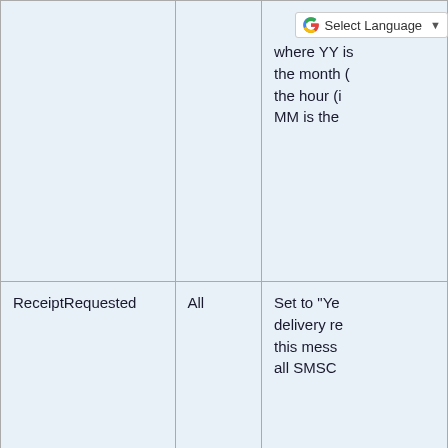| Field | Type | Description |
| --- | --- | --- |
|  |  | where YY is the month (i.e., the hour (i MM is the |
| ReceiptRequested | All | Set to "Ye delivery re this mess all SMSC |
| ReplyRequested | Text SMS | Supported and SMPP only. Set to set the Technically you are re receiving t reply back through w being sub some use |